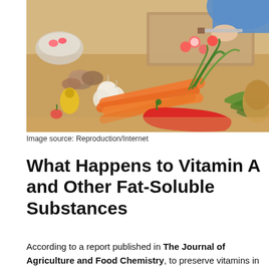[Figure (photo): Photo of fresh vegetables including carrots, garlic, red pepper, mushrooms, and other produce laid on a wooden kitchen counter, with a person chopping vegetables in the background]
Image source: Reproduction/Internet
What Happens to Vitamin A and Other Fat-Soluble Substances
According to a report published in The Journal of Agriculture and Food Chemistry, to preserve vitamins in